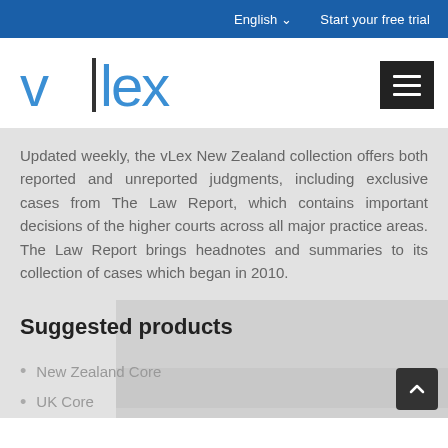English   Start your free trial
[Figure (logo): vLex logo — blue stylized letters v and lex with vertical bar separator]
Updated weekly, the vLex New Zealand collection offers both reported and unreported judgments, including exclusive cases from The Law Report, which contains important decisions of the higher courts across all major practice areas. The Law Report brings headnotes and summaries to its collection of cases which began in 2010.
Suggested products
New Zealand Core
UK Core